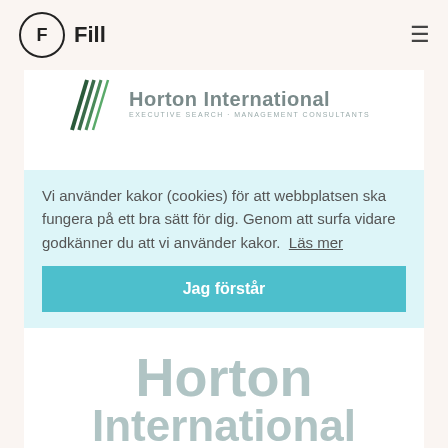[Figure (logo): Fill app logo: circle with F inside, and 'Fill' text beside it]
[Figure (logo): Horton International Executive Search Management Consultants logo with green chevron/lines graphic]
Vi använder kakor (cookies) för att webbplatsen ska fungera på ett bra sätt för dig. Genom att surfa vidare godkänner du att vi använder kakor.  Läs mer
Jag förstår
Horton International